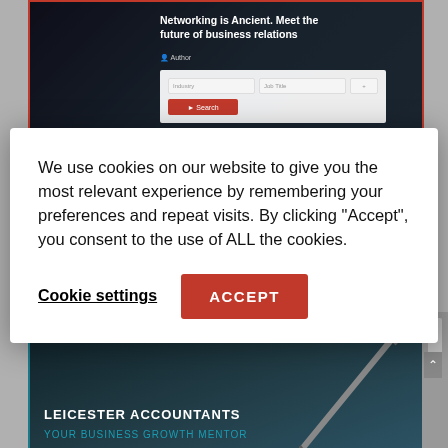[Figure (screenshot): Website screenshot showing 'Networking is Ancient. Meet the future of business relations' headline with a search form and red button, dark background with person using laptop]
We use cookies on our website to give you the most relevant experience by remembering your preferences and repeat visits. By clicking “Accept”, you consent to the use of ALL the cookies.
Cookie settings
ACCEPT
[Figure (screenshot): Website screenshot for Leicester Accountants - 'YOUR BUSINESS GROWTH MENTOR' with dark background, navigation bar, and pen image]